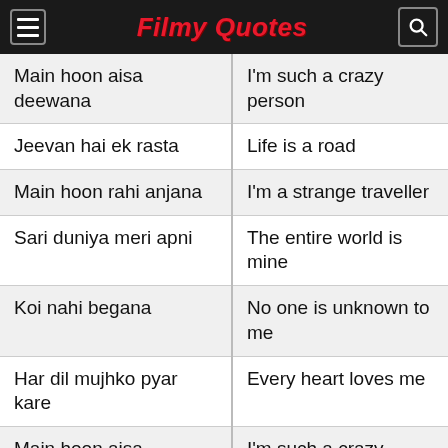Filmy Quotes
| Main hoon aisa deewana | I'm such a crazy person |
| Jeevan hai ek rasta | Life is a road |
| Main hoon rahi anjana | I'm a strange traveller |
| Sari duniya meri apni | The entire world is mine |
| Koi nahi begana | No one is unknown to me |
| Har dil mujhko pyar kare | Every heart loves me |
| Main hoon aisa deewana | I'm such a crazy person |
| Har dil mujhko pyar kare | Every heart loves me |